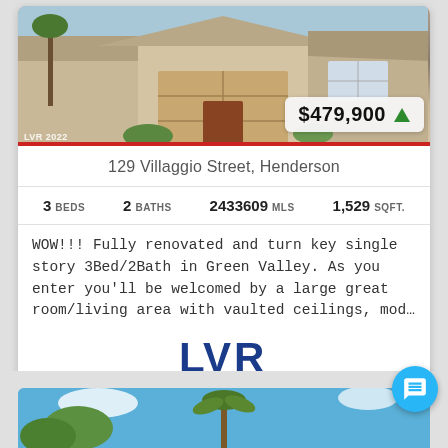[Figure (photo): Exterior photo of a single-story house with a large tan garage door, palm trees, and landscaping. Price badge showing $479,900 with green up arrow. Watermark: LVR 2022. Red bar at bottom.]
129 Villaggio Street, Henderson
3 BEDS   2 BATHS   2433609 MLS   1,529 SQFT.
WOW!!! Fully renovated and turn key single story 3Bed/2Bath in Green Valley. As you enter you'll be welcomed by a large great room/living area with vaulted ceilings, mod...
[Figure (logo): LVR Las Vegas Realtors logo]
[Figure (photo): Partial view of palm trees against a blue sky, bottom of the page]